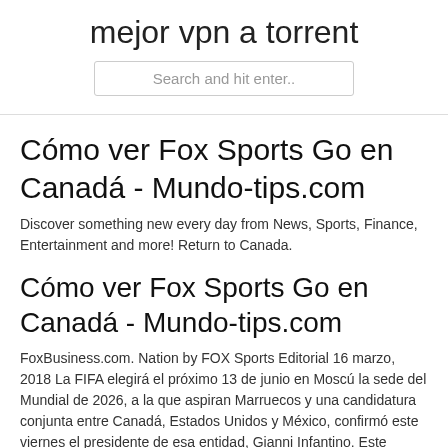mejor vpn a torrent
Search and hit enter..
Cómo ver Fox Sports Go en Canadá - Mundo-tips.com
Discover something new every day from News, Sports, Finance, Entertainment and more! Return to Canada.
Cómo ver Fox Sports Go en Canadá - Mundo-tips.com
FoxBusiness.com. Nation by FOX Sports Editorial 16 marzo, 2018 La FIFA elegirá el próximo 13 de junio en Moscú la sede del Mundial de 2026, a la que aspiran Marruecos y una candidatura conjunta entre Canadá, Estados Unidos y México, confirmó este viernes el presidente de esa entidad, Gianni Infantino. Este nuevo acuerdo de múltiples torneos incluye la cobertura en inglés de la Copa Oro, la competencia